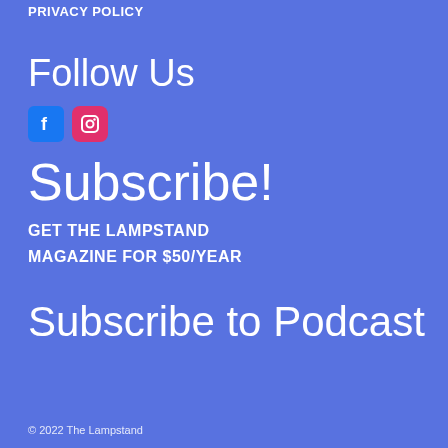PRIVACY POLICY
Follow Us
[Figure (other): Facebook and Instagram social media icons]
Subscribe!
GET THE LAMPSTAND MAGAZINE FOR $50/YEAR
Subscribe to Podcast
© 2022 The Lampstand